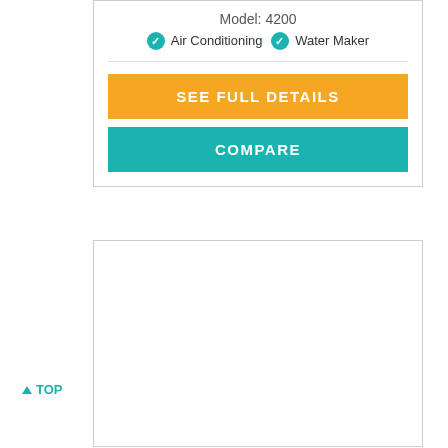Model: 4200
✓ Air Conditioning ✓ Water Maker
SEE FULL DETAILS
COMPARE
▲ TOP